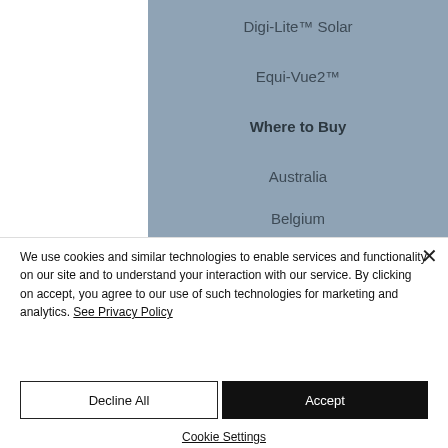Digi-Lite™ Solar
Equi-Vue2™
Where to Buy
Australia
Belgium
We use cookies and similar technologies to enable services and functionality on our site and to understand your interaction with our service. By clicking on accept, you agree to our use of such technologies for marketing and analytics. See Privacy Policy
Decline All
Accept
Cookie Settings